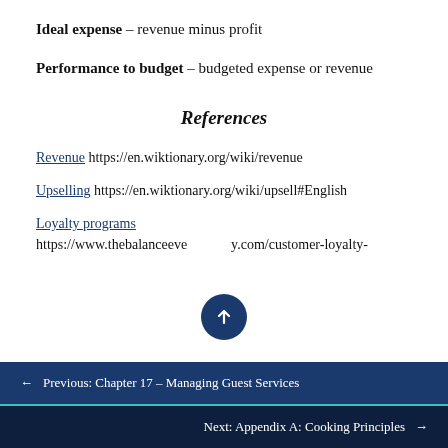Ideal expense – revenue minus profit
Performance to budget – budgeted expense or revenue
References
Revenue https://en.wiktionary.org/wiki/revenue
Upselling https://en.wiktionary.org/wiki/upsell#English
Loyalty programs https://www.thebalanceeveryday.com/customer-loyalty-
← Previous: Chapter 17 – Managing Guest Services
Next: Appendix A: Cooking Principles →